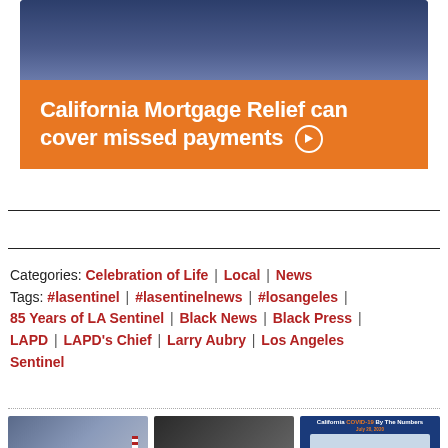[Figure (photo): Advertisement image showing a person in a dark background with an orange banner below reading 'California Mortgage Relief can cover missed payments']
Categories: Celebration of Life | Local | News
Tags: #lasentinel | #lasentinelnews | #losangeles | 85 Years of LA Sentinel | Black News | Black Press | LAPD | LAPD's Chief | Larry Aubry | Los Angeles Sentinel
[Figure (photo): Thumbnail photo of a person in suit standing in front of American and California flags]
[Figure (photo): Thumbnail photo of people at what appears to be a podium or gathering]
[Figure (infographic): California COVID-19 By The Numbers infographic showing California COVID-19 Spread with 94,558 total cases and a map]